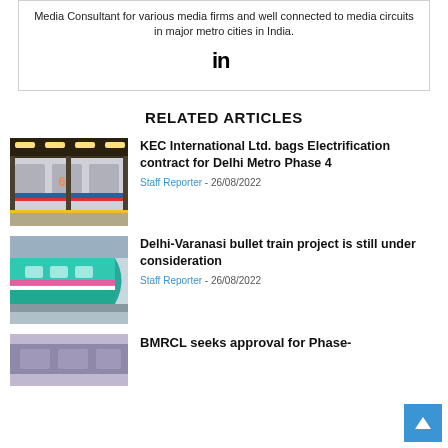Media Consultant for various media firms and well connected to media circuits in major metro cities in India.
[Figure (logo): LinkedIn 'in' logo icon in black]
RELATED ARTICLES
[Figure (photo): Delhi Metro train at platform]
KEC International Ltd. bags Electrification contract for Delhi Metro Phase 4
Staff Reporter - 26/08/2022
[Figure (photo): Shinkansen bullet train at station]
Delhi-Varanasi bullet train project is still under consideration
Staff Reporter - 26/08/2022
[Figure (photo): BMRCL related image (partial)]
BMRCL seeks approval for Phase-